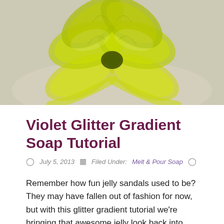[Figure (photo): Yellow-green organza ribbon bow arranged decoratively on a neutral/beige background]
Violet Glitter Gradient Soap Tutorial
July 5, 2013   Filed Under: Melt & Pour Soap
Remember how fun jelly sandals used to be? They may have fallen out of fashion for now, but with this glitter gradient tutorial we're bringing that awesome jelly look back into style! This tutorial is a great...